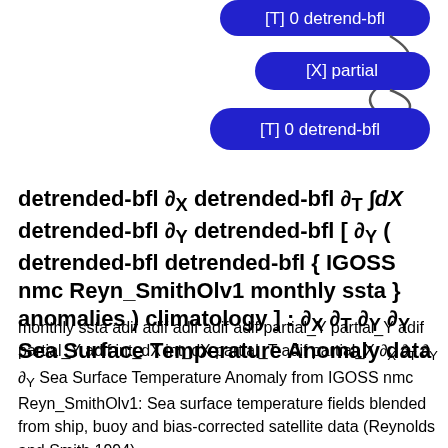[Figure (screenshot): UI panel showing blue pill-shaped buttons: '[T] 0 detrend-bfl' (partially visible at top), '[X] partial', '[T] 0 detrend-bfl', connected by curved line]
detrended-bfl ∂X detrended-bfl ∂T ∫dX detrended-bfl ∂Y detrended-bfl [ ∂Y ( detrended-bfl detrended-bfl { IGOSS nmc Reyn_SmithOlv1 monthly ssta } anomalies ) climatology ] : ∂X ∂T ∂Y ∂Y Sea Surface Temperature Anomaly data
monthly ssta adif adif adif adif adif partial_Y partial_Y adif partial_Y adif int_dX int_dX partial_T adif partial_X ∂X ∂T ∂Y ∂Y Sea Surface Temperature Anomaly from IGOSS nmc Reyn_SmithOlv1: Sea surface temperature fields blended from ship, buoy and bias-corrected satellite data (Reynolds and Smith 1994).